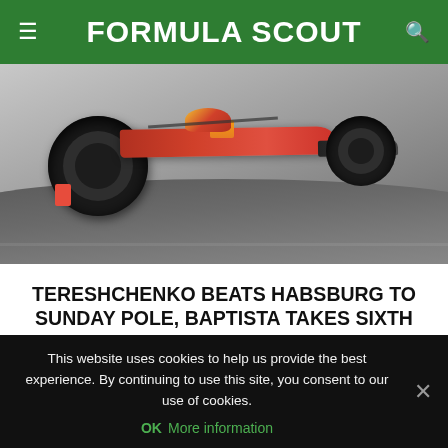FORMULA SCOUT
[Figure (photo): Formula racing car on a circuit track, viewed from a low angle. The car has a red/orange livery with black chassis, large rear tire visible prominently, and the car appears to be cornering on asphalt.]
TERESHCHENKO BEATS HABSBURG TO SUNDAY POLE, BAPTISTA TAKES SIXTH
by Gruz David  |  1 November 2015
This website uses cookies to help us provide the best experience. By continuing to use this site, you consent to our use of cookies.
OK  More information